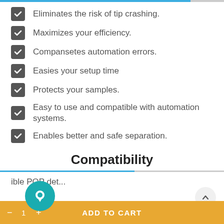Eliminates the risk of tip crashing.
Maximizes your efficiency.
Compansetes automation errors.
Easies your setup time
Protects your samples.
Easy to use and compatible with automation systems.
Enables better and safe separation.
Compatibility
ible POP det...